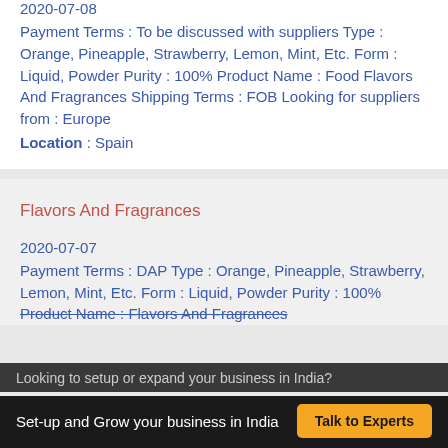2020-07-08
Payment Terms : To be discussed with suppliers Type : Orange, Pineapple, Strawberry, Lemon, Mint, Etc. Form : Liquid, Powder Purity : 100% Product Name : Food Flavors And Fragrances Shipping Terms : FOB Looking for suppliers from : Europe
Location : Spain
Flavors And Fragrances
2020-07-07
Payment Terms : DAP Type : Orange, Pineapple, Strawberry, Lemon, Mint, Etc. Form : Liquid, Powder Purity : 100% Product Name : Flavors And Fragrances
Looking to setup or expand your business in India?
Set-up and Grow your business in India   Talk to Experts